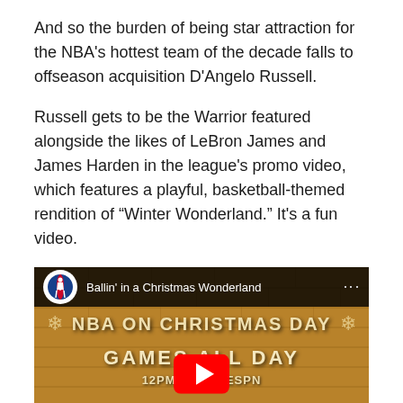And so the burden of being star attraction for the NBA's hottest team of the decade falls to offseason acquisition D'Angelo Russell.
Russell gets to be the Warrior featured alongside the likes of LeBron James and James Harden in the league's promo video, which features a playful, basketball-themed rendition of “Winter Wonderland.” It's a fun video.
[Figure (screenshot): YouTube video embed showing 'Ballin' in a Christmas Wonderland' NBA promo video thumbnail. Features NBA logo, video title, brick wall background with text 'NBA ON CHRISTMAS DAY', 'GAMES ALL DAY', '12PM ESPN', YouTube play button, and NBA players in snow globe decorations at the bottom.]